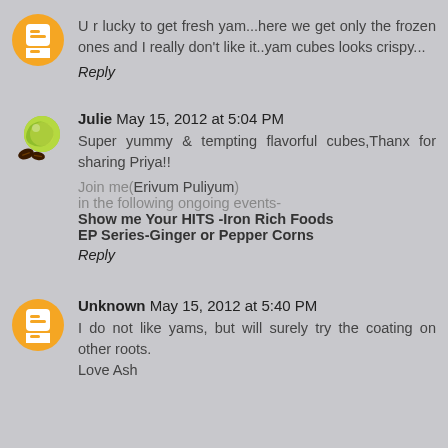U r lucky to get fresh yam...here we get only the frozen ones and I really don't like it..yam cubes looks crispy...
Reply
Julie May 15, 2012 at 5:04 PM
Super yummy & tempting flavorful cubes,Thanx for sharing Priya!!
Join me(Erivum Puliyum) in the following ongoing events-
Show me Your HITS -Iron Rich Foods
EP Series-Ginger or Pepper Corns
Reply
Unknown May 15, 2012 at 5:40 PM
I do not like yams, but will surely try the coating on other roots.
Love Ash